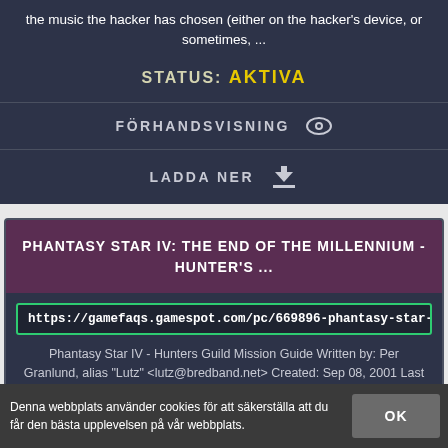the music the hacker has chosen (either on the hacker's device, or sometimes, ...
STATUS: AKTIVA
FÖRHANDSVISNING
LADDA NER
PHANTASY STAR IV: THE END OF THE MILLENNIUM - HUNTER'S ...
https://gamefaqs.gamespot.com/pc/669896-phantasy-star-iv-the-end-of-t
Phantasy Star IV - Hunters Guild Mission Guide Written by: Per Granlund, alias "Lutz" <lutz@bredband.net> Created: Sep 08, 2001 Last Updated: Sep 13, 2003 (Version: Final) Table of Contents: I. Information II.
Denna webbplats använder cookies för att säkerställa att du får den bästa upplevelsen på vår webbplats.